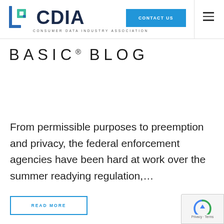CDIA — Consumer Data Industry Association — CONTACT US
BASIC® BLOG
From permissible purposes to preemption and privacy, the federal enforcement agencies have been hard at work over the summer readying regulation,...
READ MORE